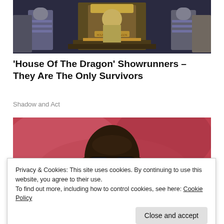[Figure (photo): Scene from House of the Dragon showing armored guards and a figure seated on a golden throne]
'House Of The Dragon' Showrunners – They Are The Only Survivors
Shadow and Act
[Figure (photo): Close-up photo of a bald Black man wearing dark sunglasses, with a blurred red background]
Privacy & Cookies: This site uses cookies. By continuing to use this website, you agree to their use.
To find out more, including how to control cookies, see here: Cookie Policy
Close and accept